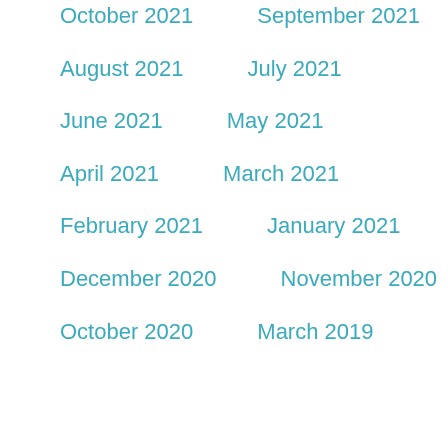October 2021
September 2021
August 2021
July 2021
June 2021
May 2021
April 2021
March 2021
February 2021
January 2021
December 2020
November 2020
October 2020
March 2019